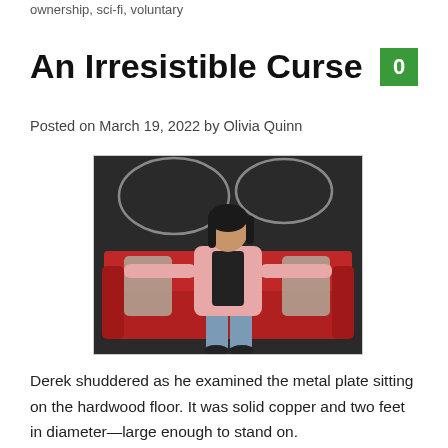ownership, sci-fi, voluntary
An Irresistible Curse
0
Posted on March 19, 2022 by Olivia Quinn
[Figure (photo): A young woman with long dark hair wearing a pink blazer over a graphic tee and jeans, sitting on a red sofa with arms spread wide, with a dark decorated wall behind her.]
Derek shuddered as he examined the metal plate sitting on the hardwood floor. It was solid copper and two feet in diameter—large enough to stand on.